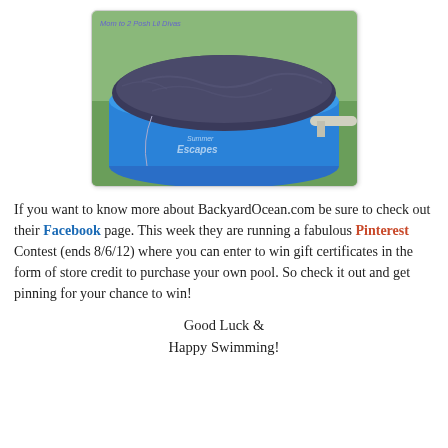[Figure (photo): A blue inflatable Summer Escapes swimming pool with a dark cover/tarp on top, sitting on a lawn. A watermark reading 'Mom to 2 Posh Lil Divas' appears in the upper left of the photo.]
If you want to know more about BackyardOcean.com be sure to check out their Facebook page. This week they are running a fabulous Pinterest Contest (ends 8/6/12) where you can enter to win gift certificates in the form of store credit to purchase your own pool. So check it out and get pinning for your chance to win!
Good Luck &
Happy Swimming!